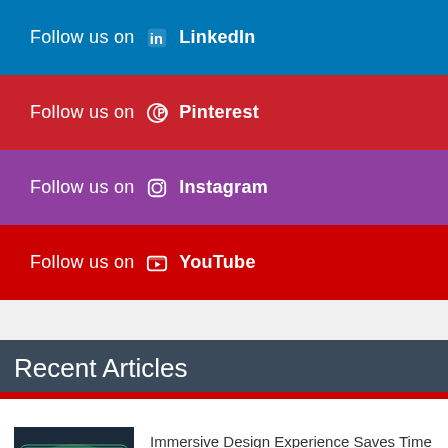Follow us on LinkedIn
Follow us on Pinterest
Follow us on Instagram
Follow us on YouTube
Recent Articles
Immersive Design Experience Saves Time And Headache In Home Building Process
[Figure (photo): Person standing in front of large curved immersive display screen showing outdoor scene, with another person seated at a computer workstation in the foreground]